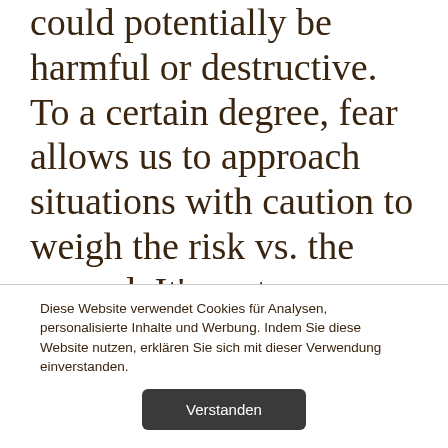could potentially be harmful or destructive. To a certain degree, fear allows us to approach situations with caution to weigh the risk vs. the reward. It's up to you, as the sales leader, to evaluate the level of validity of the fear
Diese Website verwendet Cookies für Analysen, personalisierte Inhalte und Werbung. Indem Sie diese Website nutzen, erklären Sie sich mit dieser Verwendung einverstanden.
Verstanden